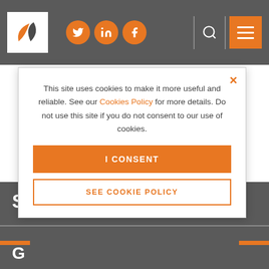[Figure (screenshot): Website navigation bar with logo, social media icons (Twitter, LinkedIn, Facebook), search icon, and hamburger menu button on grey background]
[Figure (logo): Legmark company logo - text 'LEGMARK' in dark purple with stylized purple/orange leaf/droplet icon replacing the letter A]
This site uses cookies to make it more useful and reliable. See our Cookies Policy for more details. Do not use this site if you do not consent to our use of cookies.
I CONSENT
SEE COOKIE POLICY